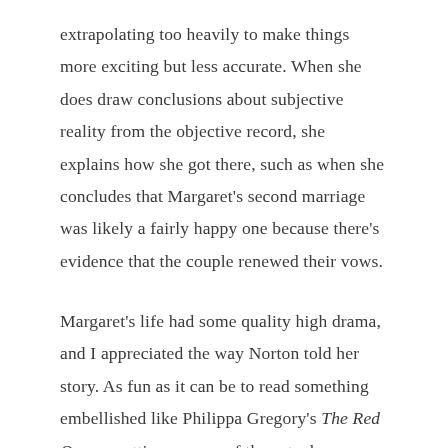extrapolating too heavily to make things more exciting but less accurate. When she does draw conclusions about subjective reality from the objective record, she explains how she got there, such as when she concludes that Margaret's second marriage was likely a fairly happy one because there's evidence that the couple renewed their vows.
Margaret's life had some quality high drama, and I appreciated the way Norton told her story. As fun as it can be to read something embellished like Philippa Gregory's The Red Queen, getting a sense of the actual person that existed, who is